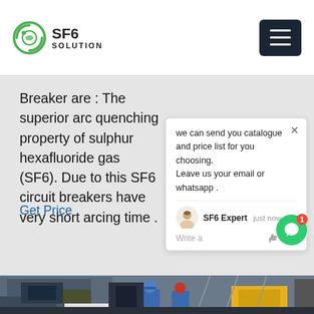SF6 SOLUTION
Breaker are : The superior arc quenching property of sulphur hexafluoride gas (SF6). Due to this SF6 circuit breakers have very short arcing time .
Get Price
we can send you catalogue and price list for you choosing. Leave us your email or whatsapp .
SF6 Expert   just now
Write a
[Figure (photo): Workers in blue overalls and hard hats working on industrial SF6 electrical equipment at a power substation. Heavy machinery and power infrastructure visible in background.]